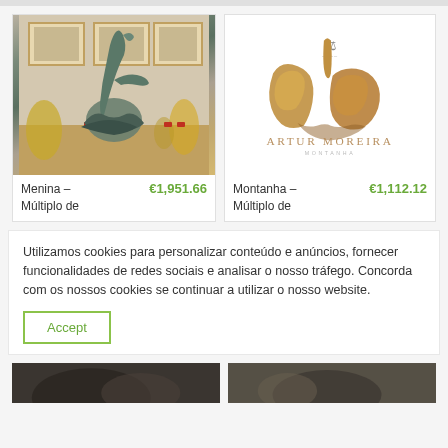[Figure (photo): Photo of a bronze/green patina sculpture of a human figure bending forward, on a decorative base, displayed in a gallery setting with framed artworks on wall]
Menina –
Múltiplo de
€1,951.66
[Figure (illustration): Book or catalog cover for Artur Moreira - Montanha, showing golden/bronze abstract rocky sculpture pieces on white background with small logo at top]
Montanha –
Múltiplo de
€1,112.12
Utilizamos cookies para personalizar conteúdo e anúncios, fornecer funcionalidades de redes sociais e analisar o nosso tráfego. Concorda com os nossos cookies se continuar a utilizar o nosso website.
Accept
[Figure (photo): Bottom partial view of dark sculptural artwork]
[Figure (photo): Bottom partial view of another dark sculptural artwork]